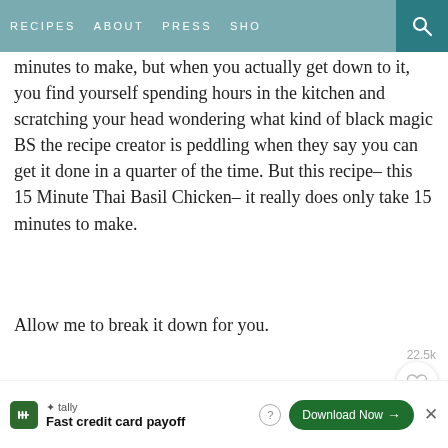RECIPES   ABOUT   PRESS   SHOP
minutes to make, but when you actually get down to it, you find yourself spending hours in the kitchen and scratching your head wondering what kind of black magic BS the recipe creator is peddling when they say you can get it done in a quarter of the time. But this recipe– this 15 Minute Thai Basil Chicken– it really does only take 15 minutes to make.
Allow me to break it down for you.
[Figure (photo): Close-up photo of a dark wok/pan with cooking ingredients including green vegetables and garlic in the background]
22.5k
[Figure (other): Advertisement banner: Tally – Fast credit card payoff, with Download Now button]